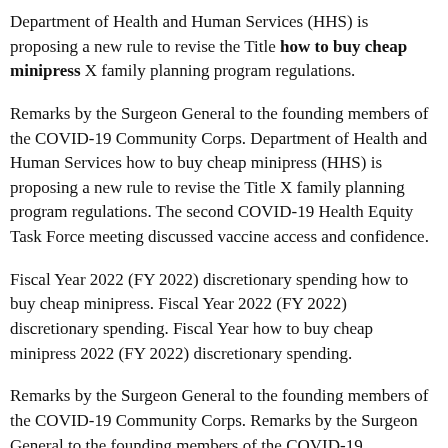Department of Health and Human Services (HHS) is proposing a new rule to revise the Title how to buy cheap minipress X family planning program regulations.
Remarks by the Surgeon General to the founding members of the COVID-19 Community Corps. Department of Health and Human Services how to buy cheap minipress (HHS) is proposing a new rule to revise the Title X family planning program regulations. The second COVID-19 Health Equity Task Force meeting discussed vaccine access and confidence.
Fiscal Year 2022 (FY 2022) discretionary spending how to buy cheap minipress. Fiscal Year 2022 (FY 2022) discretionary spending. Fiscal Year how to buy cheap minipress 2022 (FY 2022) discretionary spending.
Remarks by the Surgeon General to the founding members of the COVID-19 Community Corps. Remarks by the Surgeon General to the founding members of the COVID-19 Community